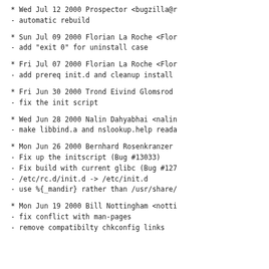* Wed Jul 12 2000 Prospector <bugzilla@r
- automatic rebuild
* Sun Jul 09 2000 Florian La Roche <Flor
- add "exit 0" for uninstall case
* Fri Jul 07 2000 Florian La Roche <Flor
- add prereq init.d and cleanup install
* Fri Jun 30 2000 Trond Eivind Glomsrod
- fix the init script
* Wed Jun 28 2000 Nalin Dahyabhai <nalin
- make libbind.a and nslookup.help reada
* Mon Jun 26 2000 Bernhard Rosenkranzer
- Fix up the initscript (Bug #13033)
- Fix build with current glibc (Bug #127
- /etc/rc.d/init.d -> /etc/init.d
- use %{_mandir} rather than /usr/share/
* Mon Jun 19 2000 Bill Nottingham <notti
- fix conflict with man-pages
- remove compatibilty chkconfig links